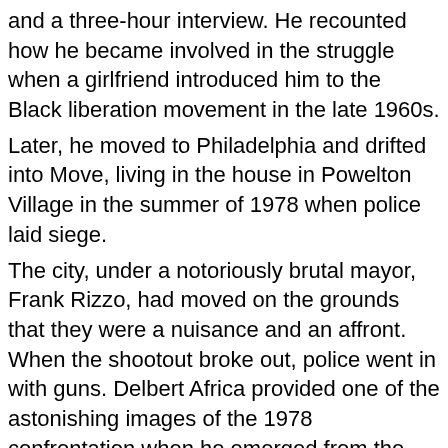and a three-hour interview. He recounted how he became involved in the struggle when a girlfriend introduced him to the Black liberation movement in the late 1960s. Later, he moved to Philadelphia and drifted into Move, living in the house in Powelton Village in the summer of 1978 when police laid siege. The city, under a notoriously brutal mayor, Frank Rizzo, had moved on the grounds that they were a nuisance and an affront. When the shootout broke out, police went in with guns. Delbert Africa provided one of the astonishing images of the 1978 confrontation when he emerged from the house with his arms outstretched in surrender while a police officer jabbed a rifle in his neck. Video footage shows two officers throwing him to the ground and kicking the head, which bounces between them like a ball. Africa described the event: "A cop hit me with his helmet in my face. Another cop swung his shotgun and broke my jaw.. I don't remember anything till I came to and a dude was on top of me and cops started kicking me in the head." For six years of his incarceration, Delbert Africa was held in a confinement wing known by prisoners as the "dungeon"